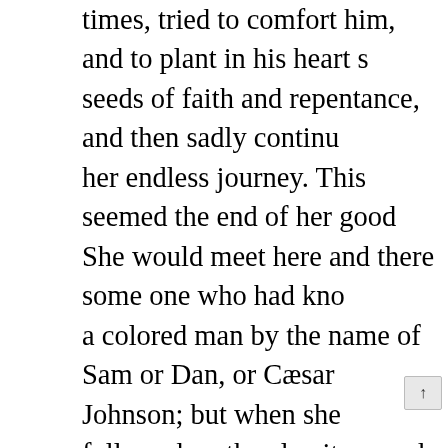times, tried to comfort him, and to plant in his heart s seeds of faith and repentance, and then sadly continu her endless journey. This seemed the end of her good She would meet here and there some one who had kno a colored man by the name of Sam or Dan, or Cæsar Johnson; but when she followed up the clue it proved delusive, and five years elapsed before she found anot of her children. At one time she went to her old home rest awhile.

"Better stay home, Aunt Lucy," said her friends, not be ramblin' 'roun' de worl' dis way. You'll meet yo' chillen in hebben."

"I doan know 'bout dat," Aunt Lucy would reply w shake of her head; "dey mought not all git dere—I'se got fine 'em on dis side'n de ribber, an I mus' keep...